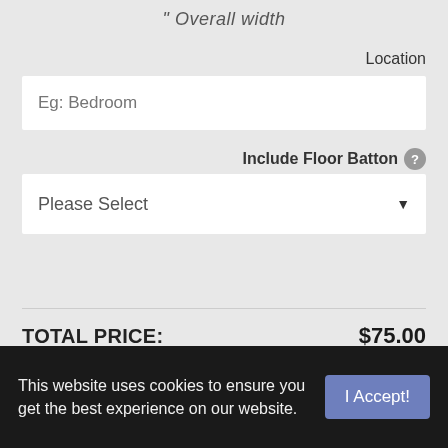" Overall width
Location
Eg: Bedroom
Include Floor Batton
Please Select
TOTAL PRICE: $75.00
(GST Included)
5 fortnightly payments of $15.00 with more info
This website uses cookies to ensure you get the best experience on our website.
I Accept!